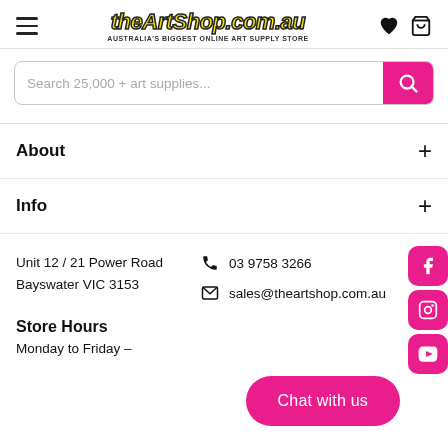[Figure (logo): theArtShop.com.au logo with yellow italic bold text and subtitle AUSTRALIA'S BIGGEST ONLINE ART SUPPLY STORE]
Search 25,000 + art supplies...
About
Info
Unit 12 / 21 Power Road Bayswater VIC 3153
03 9758 3266
sales@theartshop.com.au
Store Hours
Monday to Friday –
Chat with us